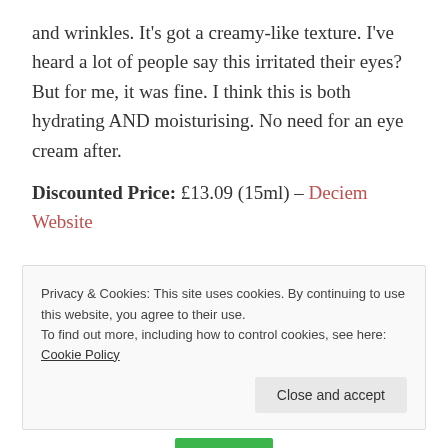and wrinkles. It's got a creamy-like texture. I've heard a lot of people say this irritated their eyes? But for me, it was fine. I think this is both hydrating AND moisturising. No need for an eye cream after.
Discounted Price: £13.09 (15ml) – Deciem Website
Privacy & Cookies: This site uses cookies. By continuing to use this website, you agree to their use.
To find out more, including how to control cookies, see here: Cookie Policy